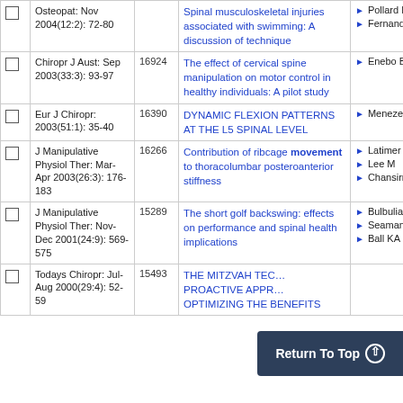|  | Journal | ID | Title | Author(s) |
| --- | --- | --- | --- | --- |
|  | Osteopat: Nov 2004(12:2): 72-80 |  | Spinal musculoskeletal injuries associated with swimming: A discussion of technique | Pollard H
Fernandez M |
|  | Chiropr J Aust: Sep 2003(33:3): 93-97 | 16924 | The effect of cervical spine manipulation on motor control in healthy individuals: A pilot study | Enebo BA |
|  | Eur J Chiropr: 2003(51:1): 35-40 | 16390 | DYNAMIC FLEXION PATTERNS AT THE L5 SPINAL LEVEL | Menezes A |
|  | J Manipulative Physiol Ther: Mar-Apr 2003(26:3): 176-183 | 16266 | Contribution of ribcage movement to thoracolumbar posteroanterior stiffness | Latimer J
Lee M
Chansirnuukor W |
|  | J Manipulative Physiol Ther: Nov-Dec 2001(24:9): 569-575 | 15289 | The short golf backswing: effects on performance and spinal health implications | Bulbulian R
Seaman DR
Ball KA |
|  | Todays Chiropr: Jul-Aug 2000(29:4): 52-59 | 15493 | THE MITZVAH TECHNIQUE: A PROACTIVE APPROACH TO OPTIMIZING THE BENEFITS |  |